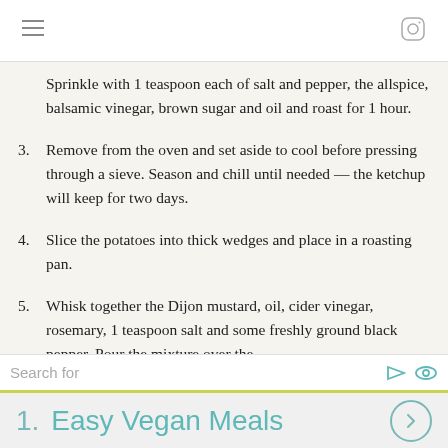Sprinkle with 1 teaspoon each of salt and pepper, the allspice, balsamic vinegar, brown sugar and oil and roast for 1 hour.
3. Remove from the oven and set aside to cool before pressing through a sieve. Season and chill until needed — the ketchup will keep for two days.
4. Slice the potatoes into thick wedges and place in a roasting pan.
5. Whisk together the Dijon mustard, oil, cider vinegar, rosemary, 1 teaspoon salt and some freshly ground black pepper. Pour the mixture over the
Search for
1.  Easy Vegan Meals